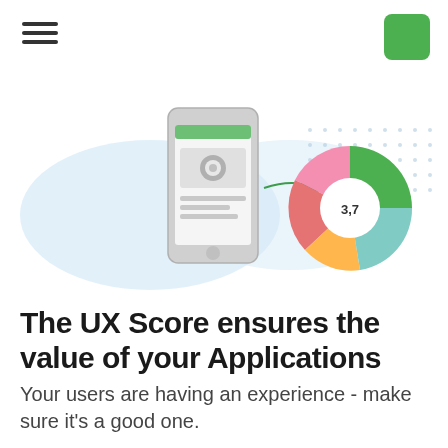[Figure (infographic): Hamburger menu icon (three horizontal lines) in top-left corner]
[Figure (infographic): Green rounded square button in top-right corner]
[Figure (infographic): Illustration showing a smartphone with a UI screen, an arrow pointing to a donut/pie chart with four colored segments (green, pink/red, orange, blue) and the number 3,7 in the center. Background includes light blue blob shapes and a dotted grid pattern.]
The UX Score ensures the value of your Applications
Your users are having an experience - make sure it's a good one.